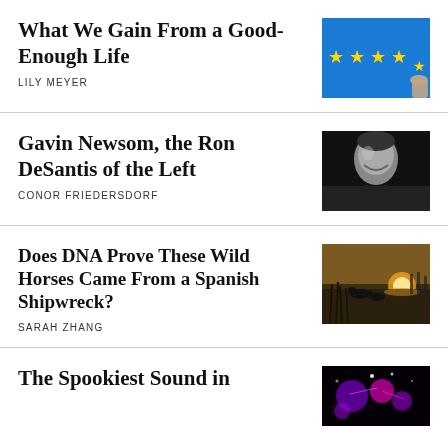What We Gain From a Good-Enough Life
LILY MEYER
[Figure (photo): Blue background with yellow EU-style stars arranged in a circle, a hand pointing at or touching one of the stars]
Gavin Newsom, the Ron DeSantis of the Left
CONOR FRIEDERSDORF
[Figure (photo): Black and white portrait of a man smiling, wearing a suit and tie]
Does DNA Prove These Wild Horses Came From a Spanish Shipwreck?
SARAH ZHANG
[Figure (photo): Silhouette of horses or animals in water at sunset with reeds in the foreground]
The Spookiest Sound in
[Figure (photo): Dark image with colorful lights, purple and magenta tones]